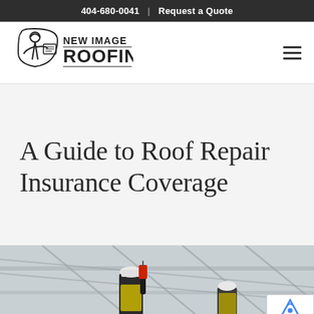404-680-0041  |  Request a Quote
[Figure (logo): New Image Roofing logo with a roofer illustration and text 'NEW IMAGE ROOFING']
A Guide to Roof Repair Insurance Coverage
[Figure (photo): Two construction workers in safety vests and hard hats on a roof, one holding a walkie-talkie, with structural steel in the background]